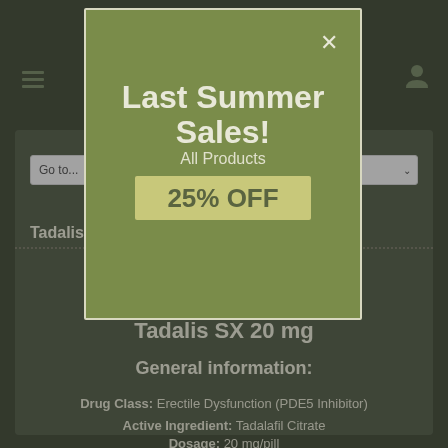[Figure (screenshot): Dark olive-green website background with hamburger menu icon, user profile icon, navigation bar with 'Go to...' and dropdown, and partially visible product page for Tadalis SX 20mg]
[Figure (screenshot): Modal popup with olive-green background showing 'Last Summer Sales! All Products 25% OFF' promotional overlay with close button]
Last Summer Sales!
All Products
25% OFF
Tadalis SX 20 mg
General information:
Drug Class: Erectile Dysfunction (PDE5 Inhibitor)
Active Ingredient: Tadalafil Citrate
Dosage: 20 mg/pill